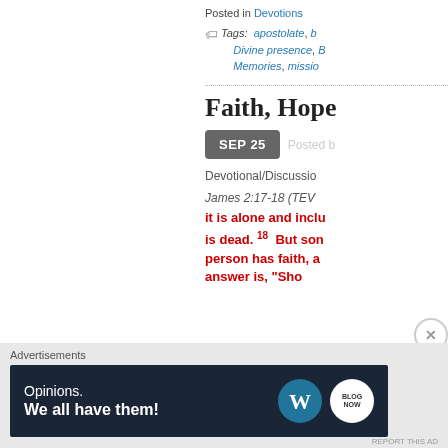Posted in Devotions
Tags: apostolate, Divine presence, Memories, mission
Faith, Hope
SEP 25  Posted b
Devotional/Discussio
James 2:17-18 (TEV)
it is alone and inclu... is dead. 18 But son... person has faith, a... answer is, "Show m
Advertisements
[Figure (screenshot): Advertisement banner for WordPress/Opinions: 'Opinions. We all have them!' with WordPress logo and another circular logo on dark navy background]